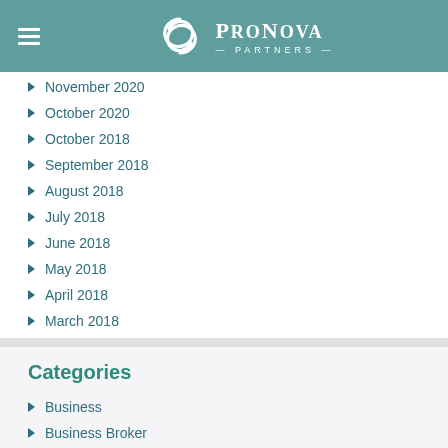ProNova Partners
November 2020
October 2020
October 2018
September 2018
August 2018
July 2018
June 2018
May 2018
April 2018
March 2018
Categories
Business
Business Broker